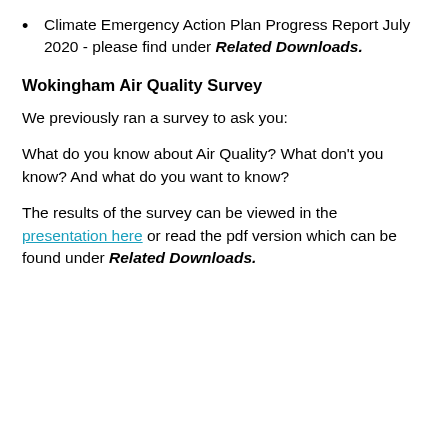Climate Emergency Action Plan Progress Report July 2020 - please find under Related Downloads.
Wokingham Air Quality Survey
We previously ran a survey to ask you:
What do you know about Air Quality? What don't you know? And what do you want to know?
The results of the survey can be viewed in the presentation here or read the pdf version which can be found under Related Downloads.